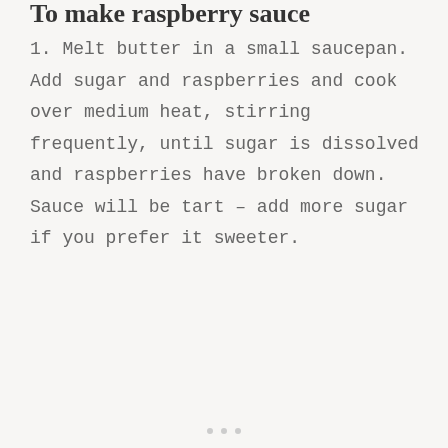To make raspberry sauce
1. Melt butter in a small saucepan. Add sugar and raspberries and cook over medium heat, stirring frequently, until sugar is dissolved and raspberries have broken down. Sauce will be tart – add more sugar if you prefer it sweeter.